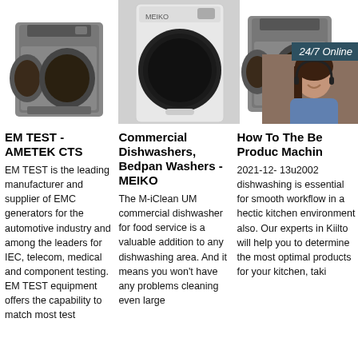[Figure (photo): Three washing machines shown from left, center, right. A customer support representative overlay with 24/7 Online badge and chat/quotation UI on right side.]
EM TEST - AMETEK CTS
EM TEST is the leading manufacturer and supplier of EMC generators for the automotive industry and among the leaders for IEC, telecom, medical and component testing. EM TEST equipment offers the capability to match most test
Commercial Dishwashers, Bedpan Washers - MEIKO
The M-iClean UM commercial dishwasher for food service is a valuable addition to any dishwashing area. And it means you won't have any problems cleaning even large
How To The Be Produc Machin
2021-12- 13u2002 dishwashing is essential for smooth workflow in a hectic kitchen environment also. Our experts in Kiilto will help you to determine the most optimal products for your kitchen, taki